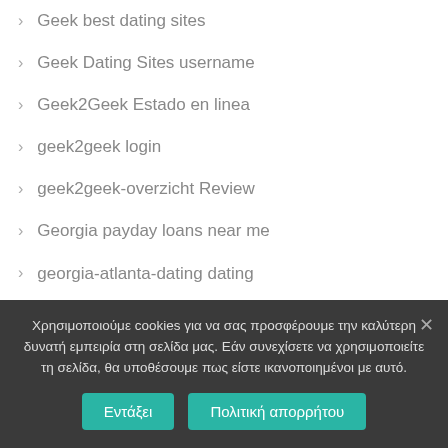Geek best dating sites
Geek Dating Sites username
Geek2Geek Estado en linea
geek2geek login
geek2geek-overzicht Review
Georgia payday loans near me
georgia-atlanta-dating dating
Georgia_Calhoun payday loans
german-chat-rooms dating
Χρησιμοποιούμε cookies για να σας προσφέρουμε την καλύτερη δυνατή εμπειρία στη σελίδα μας. Εάν συνεχίσετε να χρησιμοποιείτε τη σελίδα, θα υποθέσουμε πως είστε ικανοποιημένοι με αυτό.
Εντάξει
Πολιτική απορρήτου